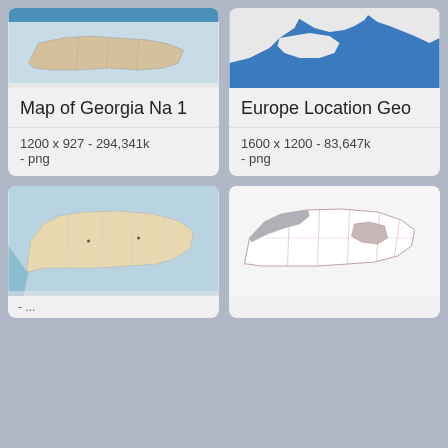[Figure (map): Map of Georgia Na 1 - thumbnail showing map of Georgia country with borders and labels, blue header strip]
Map of Georgia Na 1
1200 x 927 - 294,341k
- png
[Figure (map): Europe Location Geo - thumbnail showing map of Europe with blue sea areas and land masses]
Europe Location Geo
1600 x 1200 - 83,647k
- png
[Figure (map): Map of Georgia country showing beige/tan land with blue sea to the west, internal region borders]
[Figure (map): Map of Georgia country showing white/light background with region borders, grey shaded areas in north and central-east]